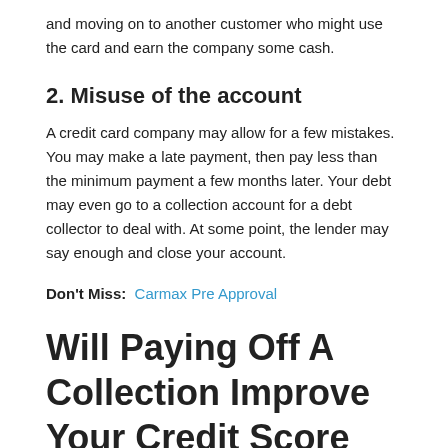and moving on to another customer who might use the card and earn the company some cash.
2. Misuse of the account
A credit card company may allow for a few mistakes. You may make a late payment, then pay less than the minimum payment a few months later. Your debt may even go to a collection account for a debt collector to deal with. At some point, the lender may say enough and close your account.
Don't Miss: Carmax Pre Approval
Will Paying Off A Collection Improve Your Credit Score
Actually, this is a common misconception. The fact is,